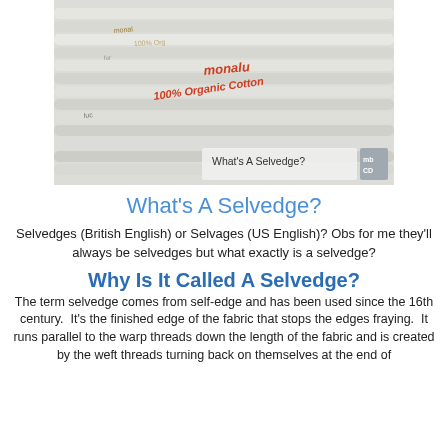[Figure (photo): Close-up photo of rolled/folded fabric bolts with text on the selvedge edge reading '100% Organic Cotton' and 'monalu'. A caption overlay reads 'What's A Selvedge?' with a small logo in the bottom right corner.]
What's A Selvedge?
Selvedges (British English) or Selvages (US English)? Obs for me they'll always be selvedges but what exactly is a selvedge?
Why Is It Called A Selvedge?
The term selvedge comes from self-edge and has been used since the 16th century.  It's the finished edge of the fabric that stops the edges fraying.  It runs parallel to the warp threads down the length of the fabric and is created by the weft threads turning back on themselves at the end of